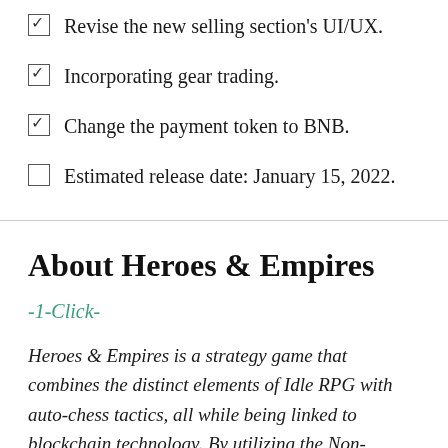☑ Revise the new selling section's UI/UX.
☑ Incorporating gear trading.
☑ Change the payment token to BNB.
☐ Estimated release date: January 15, 2022.
About Heroes & Empires
-1-Click-
Heroes & Empires is a strategy game that combines the distinct elements of Idle RPG with auto-chess tactics, all while being linked to blockchain technology. By utilizing the Non-Fungible Token (NFT) feature to create characters and